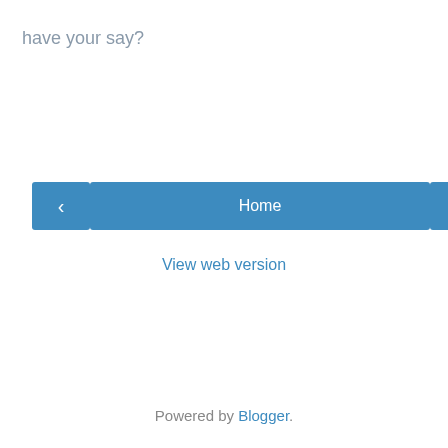have your say?
< Home >
View web version
Powered by Blogger.